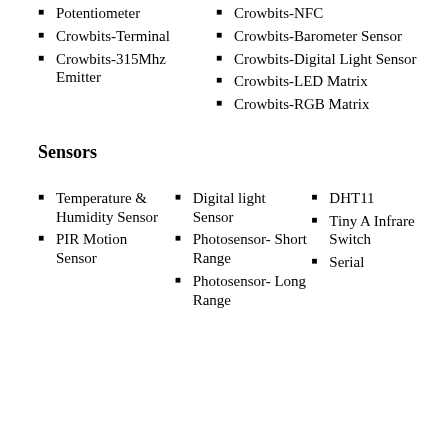Potentiometer
Crowbits-Terminal
Crowbits-315Mhz Emitter
Crowbits-NFC
Crowbits-Barometer Sensor
Crowbits-Digital Light Sensor
Crowbits-LED Matrix
Crowbits-RGB Matrix
Sensors
Temperature & Humidity Sensor
PIR Motion Sensor
Digital light Sensor
Photosensor- Short Range
Photosensor- Long Range
DHT11
Tiny A Infrared Switch
Serial